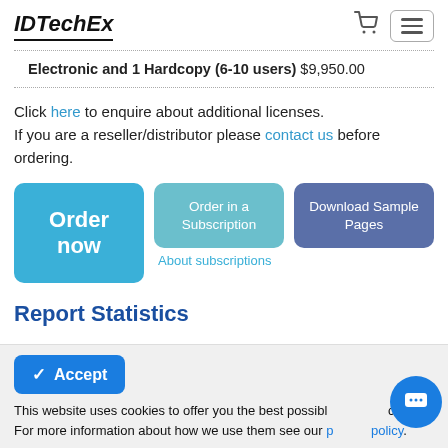IDTechEx
Electronic and 1 Hardcopy (6-10 users) $9,950.00
Click here to enquire about additional licenses. If you are a reseller/distributor please contact us before ordering.
[Figure (screenshot): Three buttons: Order now (light blue), Order in a Subscription (teal), Download Sample Pages (slate blue), and an About subscriptions link below the middle button.]
Report Statistics
This website uses cookies to offer you the best possible experience. For more information about how we use them see our privacy policy.